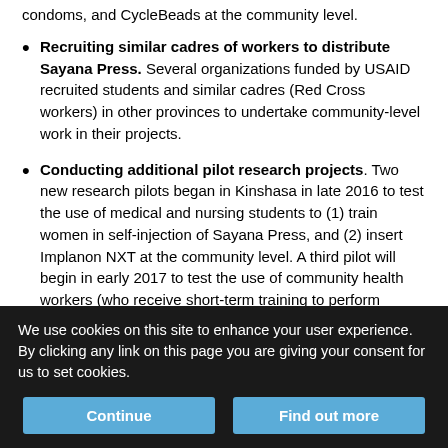condoms, and CycleBeads at the community level.
Recruiting similar cadres of workers to distribute Sayana Press. Several organizations funded by USAID recruited students and similar cadres (Red Cross workers) in other provinces to undertake community-level work in their projects.
Conducting additional pilot research projects. Two new research pilots began in Kinshasa in late 2016 to test the use of medical and nursing students to (1) train women in self-injection of Sayana Press, and (2) insert Implanon NXT at the community level. A third pilot will begin in early 2017 to test the use of community health workers (who receive short-term training to perform specific tasks) to provide Sayana Press as part of an ongoing community-based distribution program. The Secretary General for Health authorized these 3 new pilots in a letter dated
We use cookies on this site to enhance your user experience. By clicking any link on this page you are giving your consent for us to set cookies.